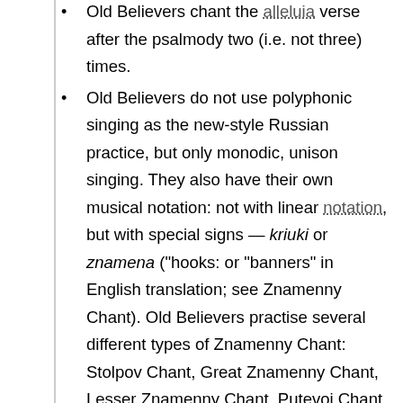Old Believers chant the alleluia verse after the psalmody two (i.e. not three) times.
Old Believers do not use polyphonic singing as the new-style Russian practice, but only monodic, unison singing. They also have their own musical notation: not with linear notation, but with special signs — kriuki or znamena ("hooks: or "banners" in English translation; see Znamenny Chant). Old Believers practise several different types of Znamenny Chant: Stolpov Chant, Great Znamenny Chant, Lesser Znamenny Chant, Putevoi Chant, Pomorsky Chant(or Khomov Chant), Demestvenny Chant, etc. In this respect it represents a tradition that parallels the use of Byzantine chant and neumatic notation.